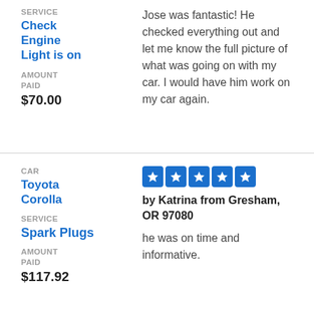SERVICE
Check Engine Light is on
AMOUNT PAID
$70.00
Jose was fantastic! He checked everything out and let me know the full picture of what was going on with my car. I would have him work on my car again.
CAR
Toyota Corolla
SERVICE
Spark Plugs
AMOUNT PAID
$117.92
[Figure (other): Five blue star rating boxes with white stars]
by Katrina from Gresham, OR 97080
he was on time and informative.